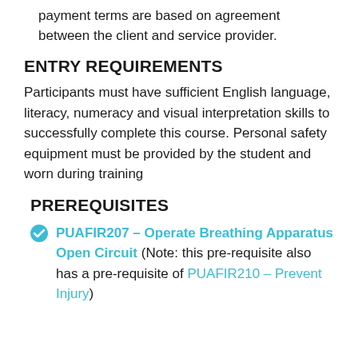payment terms are based on agreement between the client and service provider.
ENTRY REQUIREMENTS
Participants must have sufficient English language, literacy, numeracy and visual interpretation skills to successfully complete this course. Personal safety equipment must be provided by the student and worn during training
PREREQUISITES
PUAFIR207 – Operate Breathing Apparatus Open Circuit (Note: this pre-requisite also has a pre-requisite of PUAFIR210 – Prevent Injury)